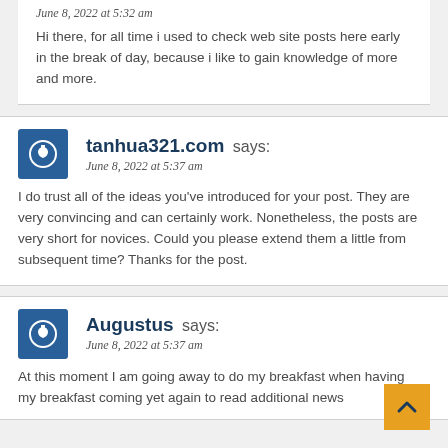June 8, 2022 at 5:32 am
Hi there, for all time i used to check web site posts here early in the break of day, because i like to gain knowledge of more and more.
tanhua321.com says:
June 8, 2022 at 5:37 am
I do trust all of the ideas you’ve introduced for your post. They are very convincing and can certainly work. Nonetheless, the posts are very short for novices. Could you please extend them a little from subsequent time? Thanks for the post.
Augustus says:
June 8, 2022 at 5:37 am
At this moment I am going away to do my breakfast when having my breakfast coming yet again to read additional news